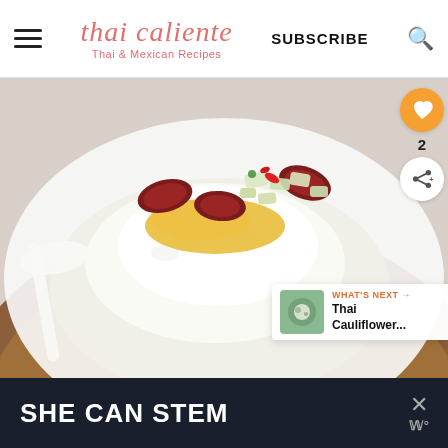thai caliente – Thai & Mexican Recipes
[Figure (photo): Thai rice dish in a wooden bowl topped with Chinese sausage slices, fried egg, pickled vegetables and red chili peppers, photographed from above on a wooden serving board]
WHAT'S NEXT → Thai Cauliflower...
[Figure (screenshot): Dark advertisement banner at the bottom reading SHE CAN STEM with a close button showing X and W° logo]